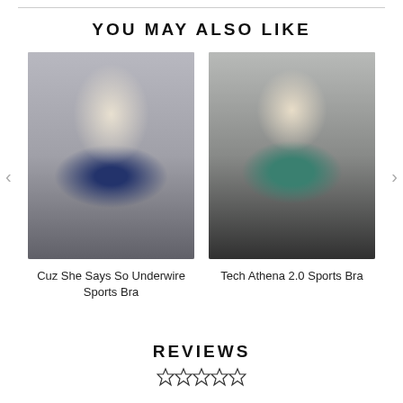YOU MAY ALSO LIKE
[Figure (photo): Woman wearing a navy blue underwire sports bra with dark grey pants, hands in pockets, light grey background]
Cuz She Says So Underwire Sports Bra
[Figure (photo): Woman wearing a teal floral print sports bra with black high-waist leggings, light grey background]
Tech Athena 2.0 Sports Bra
REVIEWS